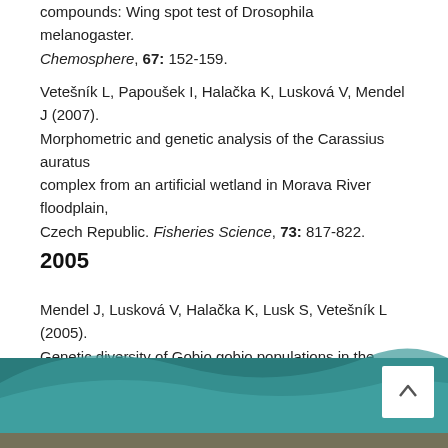compounds: Wing spot test of Drosophila melanogaster. Chemosphere, 67: 152-159.
Vetešník L, Papoušek I, Halačka K, Lusková V, Mendel J (2007). Morphometric and genetic analysis of the Carassius auratus complex from an artificial wetland in Morava River floodplain, Czech Republic. Fisheries Science, 73: 817-822.
2005
Mendel J, Lusková V, Halačka K, Lusk S, Vetešník L (2005). Genetic diversity of Gobio gobio populations in the Czech Republic and Slovakia, based on RAPD markers. Folia zoologica, 54: 13-24.